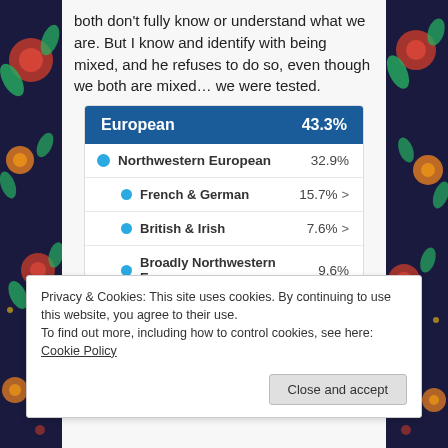both don't fully know or understand what we are. But I know and identify with being mixed, and he refuses to do so, even though we both are mixed... we were tested.
| Category | Percentage |
| --- | --- |
| European | 43.3% |
| Northwestern European | 32.9% |
| French & German | 15.7% |
| British & Irish | 7.6% |
| Broadly Northwestern European | 9.6% |
Privacy & Cookies: This site uses cookies. By continuing to use this website, you agree to their use.
To find out more, including how to control cookies, see here: Cookie Policy
Close and accept